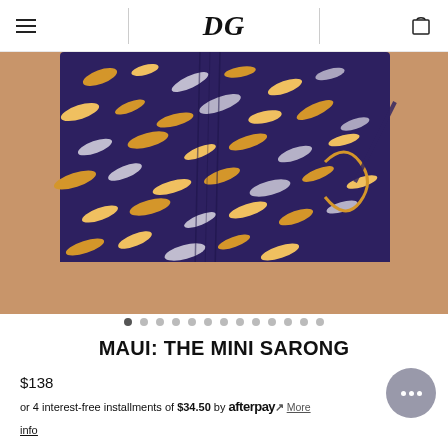DG
[Figure (photo): Close-up photo of a woman wearing a Maui mini sarong skirt with a dark purple/navy base and colorful abstract print in gold, orange, and white. The skirt has a ruched side with a tie detail. Only the torso and upper legs are visible.]
MAUI: THE MINI SARONG
$138
or 4 interest-free installments of $34.50 by afterpay More info